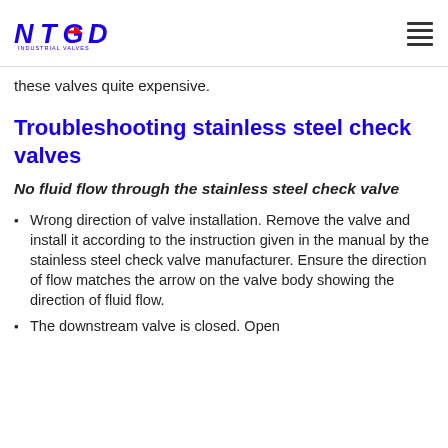NTGD Industrial Valves
these valves quite expensive.
Troubleshooting stainless steel check valves
No fluid flow through the stainless steel check valve
Wrong direction of valve installation. Remove the valve and install it according to the instruction given in the manual by the stainless steel check valve manufacturer. Ensure the direction of flow matches the arrow on the valve body showing the direction of fluid flow.
The downstream valve is closed. Open